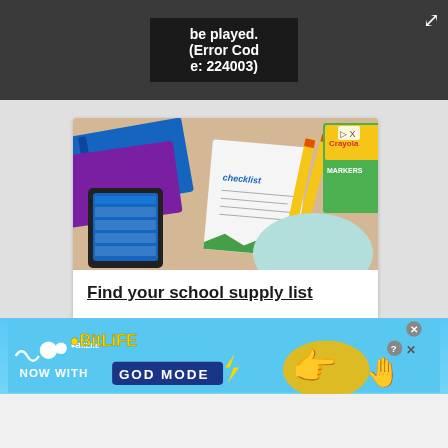[Figure (screenshot): Video player showing error message: 'be played. (Error Code: 224003)' on dark background with expand icon]
[Figure (photo): Walmart advertisement showing school supplies: tablet with app, checklist paper, pencils, Crayola markers, backpack on tan background]
Find your school supply list
Walmart
Open >
[Figure (infographic): BitLife app advertisement banner: 'NOW WITH GOD MODE' on light blue background with cartoon pointing hand and lightning bolt]